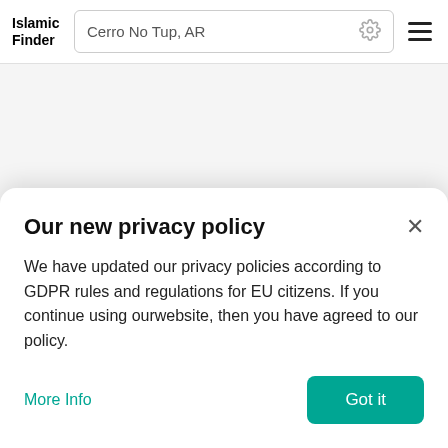Islamic Finder | Cerro No Tup, AR
Our new privacy policy
We have updated our privacy policies according to GDPR rules and regulations for EU citizens. If you continue using ourwebsite, then you have agreed to our policy.
More Info
Got it